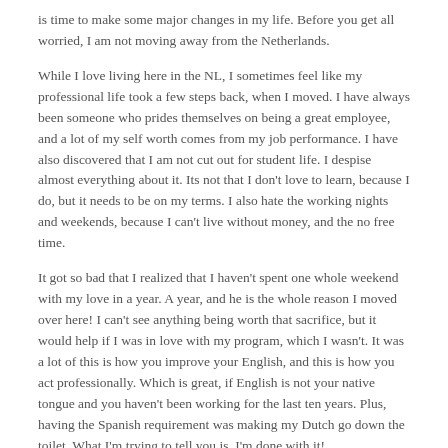is time to make some major changes in my life. Before you get all worried, I am not moving away from the Netherlands.
While I love living here in the NL, I sometimes feel like my professional life took a few steps back, when I moved. I have always been someone who prides themselves on being a great employee, and a lot of my self worth comes from my job performance. I have also discovered that I am not cut out for student life. I despise almost everything about it. Its not that I don't love to learn, because I do, but it needs to be on my terms. I also hate the working nights and weekends, because I can't live without money, and the no free time.
It got so bad that I realized that I haven't spent one whole weekend with my love in a year. A year, and he is the whole reason I moved over here! I can't see anything being worth that sacrifice, but it would help if I was in love with my program, which I wasn't. It was a lot of this is how you improve your English, and this is how you act professionally. Which is great, if English is not your native tongue and you haven't been working for the last ten years. Plus, having the Spanish requirement was making my Dutch go down the toilet. What I'm trying to tell you is, I'm done with it!
That's right, I am no longer a student. Although, I will miss my girls! One good thing that came out of the past year is that I found a company that I